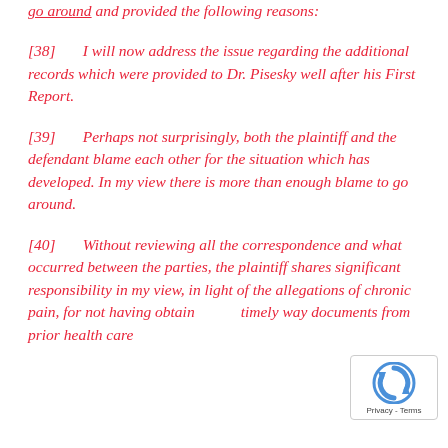go around and provided the following reasons:
[38]      I will now address the issue regarding the additional records which were provided to Dr. Pisesky well after his First Report.
[39]      Perhaps not surprisingly, both the plaintiff and the defendant blame each other for the situation which has developed. In my view there is more than enough blame to go around.
[40]      Without reviewing all the correspondence and what occurred between the parties, the plaintiff shares significant responsibility in my view, in light of the allegations of chronic pain, for not having obtained in a timely way documents from prior health care professionals and providing those to...